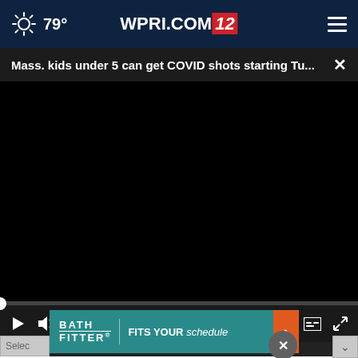79° WPRI.COM 12
Mass. kids under 5 can get COVID shots starting Tu... ×
[Figure (screenshot): Black video player area — video not loaded, controls showing play, mute, 00:00, captions, fullscreen]
· COMPLETE COVERAGE »
[Figure (advertisement): Bath Fitter ad banner — BATH FITTER® FITS YOUR schedule with orange arrow on right]